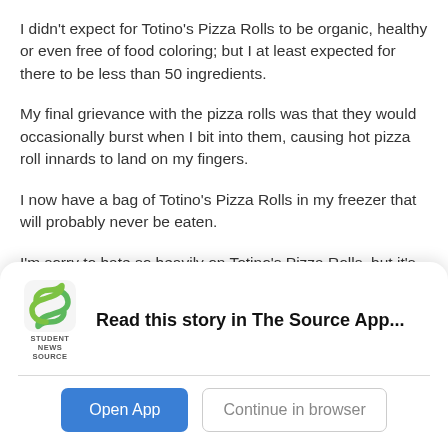I didn't expect for Totino's Pizza Rolls to be organic, healthy or even free of food coloring; but I at least expected for there to be less than 50 ingredients.
My final grievance with the pizza rolls was that they would occasionally burst when I bit into them, causing hot pizza roll innards to land on my fingers.
I now have a bag of Totino's Pizza Rolls in my freezer that will probably never be eaten.
I'm sorry to hate so heavily on Totino's Pizza Rolls, but it's my duty as a journalist to give the facts.
The facts are that Totino's Pizza Rolls are absolutely terrible
[Figure (logo): Student News Source app logo — green stylized S icon above text reading STUDENT NEWS SOURCE]
Read this story in The Source App...
Open App
Continue in browser